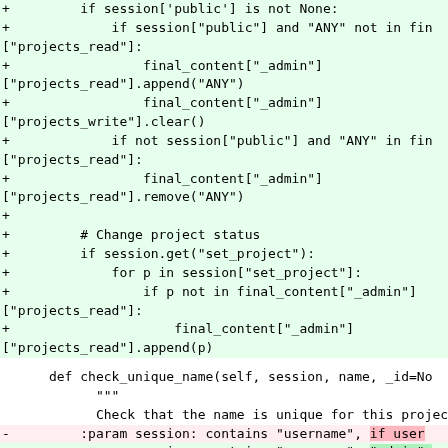Code diff showing additions to session handling logic and check_unique_name function with parameter changes